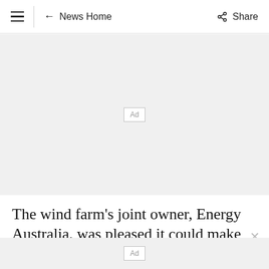≡  ← News Home    Share
[Figure (other): Advertisement placeholder banner (gray background with 'Ad' label in a bordered box)]
The wind farm's joint owner, Energy Australia, was pleased it could make a significant contribution to the record energy production
[Figure (other): Advertisement placeholder bar at bottom (gray background with 'Ad' label in a bordered box)]